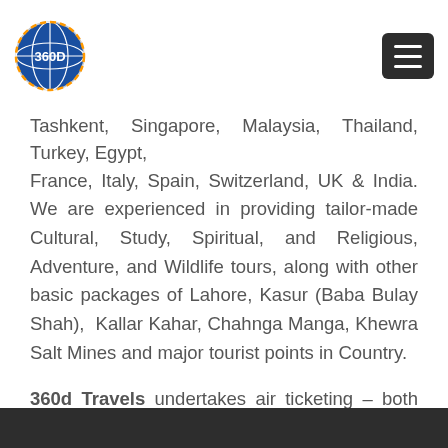360d Travels logo and navigation menu
Tashkent, Singapore, Malaysia, Thailand, Turkey, Egypt, France, Italy, Spain, Switzerland, UK & India. We are experienced in providing tailor-made Cultural, Study, Spiritual, and Religious, Adventure, and Wildlife tours, along with other basic packages of Lahore, Kasur (Baba Bulay Shah), Kallar Kahar, Chahnga Manga, Khewra Salt Mines and major tourist points in Country.
360d Travels undertakes air ticketing – both international and domestic – train, land transport by road, as well as charters of flight and trains.